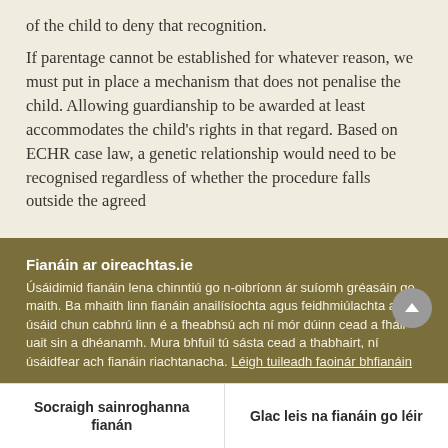of the child to deny that recognition.
If parentage cannot be established for whatever reason, we must put in place a mechanism that does not penalise the child. Allowing guardianship to be awarded at least accommodates the child's rights in that regard. Based on ECHR case law, a genetic relationship would need to be recognised regardless of whether the procedure falls outside the agreed
Fianáin ar oireachtas.ie
Úsáidimid fianáin lena chinntiú go n-oibríonn ár suíomh gréasáin go maith. Ba mhaith linn fianáin anailísíochta agus feidhmiúlachta a úsáid chun cabhrú linn é a fheabhsú ach ní mór dúinn cead a fháil uait sin a dhéanamh. Mura bhfuil tú sásta cead a thabhairt, ní úsáidfear ach fianáin riachtanacha. Léigh tuileadh faoinár bhfianáin
Socraigh sainroghanna fianán
Glac leis na fianáin go léir